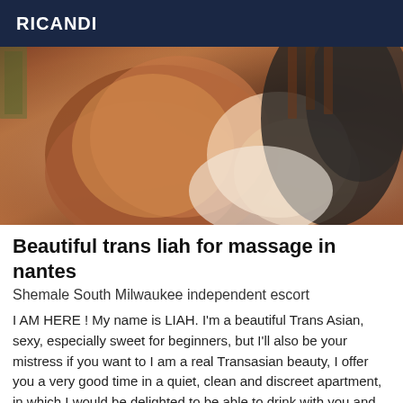RICANDI
[Figure (photo): Close-up photo of a person with long auburn/red hair wearing a black and white outfit, posed against a wooden background]
Beautiful trans liah for massage in nantes
Shemale South Milwaukee independent escort
I AM HERE ! My name is LIAH. I'm a beautiful Trans Asian, sexy, especially sweet for beginners, but I'll also be your mistress if you want to I am a real Transasian beauty, I offer you a very good time in a quiet, clean and discreet apartment, in which I would be delighted to be able to drink with you and have a nice time. Of course, I